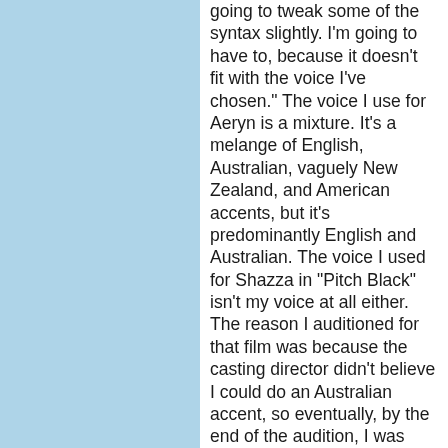going to tweak some of the syntax slightly. I'm going to have to, because it doesn't fit with the voice I've chosen." The voice I use for Aeryn is a mixture. It's a melange of English, Australian, vaguely New Zealand, and American accents, but it's predominantly English and Australian. The voice I used for Shazza in "Pitch Black" isn't my voice at all either. The reason I auditioned for that film was because the casting director didn't believe I could do an Australian accent, so eventually, by the end of the audition, I was talking like this amazingly caricatured creature from the Outback of Australia. They were saying I'd got the part, but that the accent was not broad